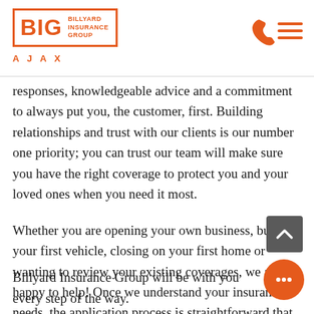BIG | BILLYARD INSURANCE GROUP | AJAX
responses, knowledgeable advice and a commitment to always put you, the customer, first. Building relationships and trust with our clients is our number one priority; you can trust our team will make sure you have the right coverage to protect you and your loved ones when you need it most.
Whether you are opening your own business, buying your first vehicle, closing on your first home or wanting to review your existing coverages, we are happy to help! Once we understand your insurance needs, the application process is straightforward that can be completed online with a few easy steps.
Billyard Insurance Group will be with you every step of the way.